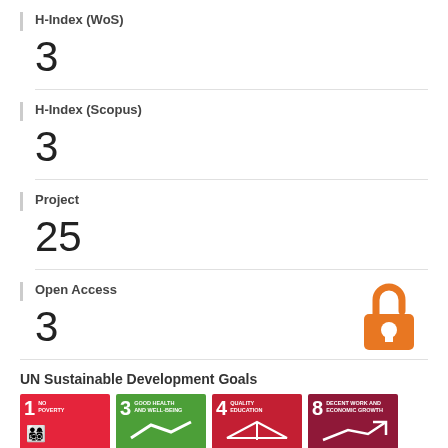H-Index (WoS)
3
H-Index (Scopus)
3
Project
25
Open Access
3
[Figure (logo): Open Access lock icon in orange]
UN Sustainable Development Goals
[Figure (infographic): UN SDG badges: 1 No Poverty (red), 3 Good Health and Well-Being (green), 4 Quality Education (dark red), 8 Decent Work and Economic Growth (dark red)]